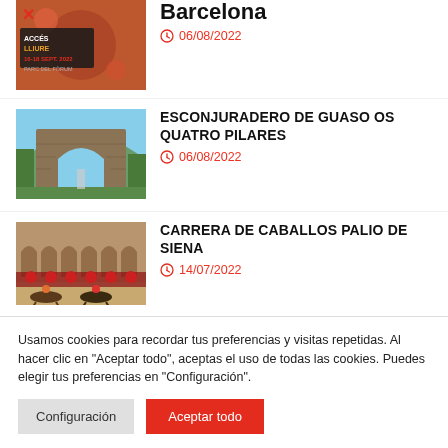[Figure (photo): Event poster for Barcelona festival, ACCÉS LLIURE, 16-18 SEPT. 2022, PARC DEL FÒRUM]
Barcelona
06/08/2022
[Figure (photo): Stone arch gateway structure against blue sky with trees]
ESCONJURADERO DE GUASO OS QUATRO PILARES
06/08/2022
[Figure (photo): Horse race Palio di Siena with medieval building facade and flowers]
CARRERA DE CABALLOS PALIO DE SIENA
14/07/2022
Usamos cookies para recordar tus preferencias y visitas repetidas. Al hacer clic en "Aceptar todo", aceptas el uso de todas las cookies. Puedes elegir tus preferencias en "Configuración".
Configuración
Aceptar todo